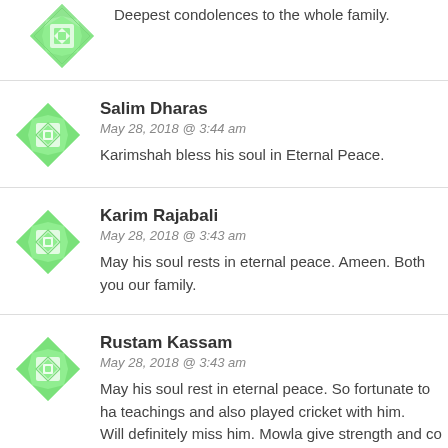Deepest condolences to the whole family.
Salim Dharas
May 28, 2018 @ 3:44 am
Karimshah bless his soul in Eternal Peace.
Karim Rajabali
May 28, 2018 @ 3:43 am
May his soul rests in eternal peace. Ameen. Both you our family.
Rustam Kassam
May 28, 2018 @ 3:43 am
May his soul rest in eternal peace. So fortunate to have teachings and also played cricket with him.
Will definitely miss him. Mowla give strength and co family. Inshallah we shall meet again. God bless